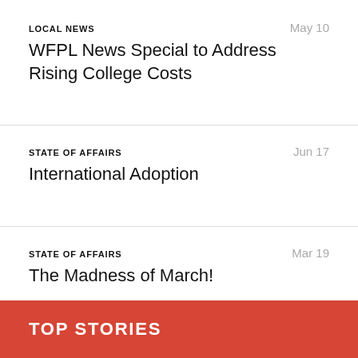LOCAL NEWS
May 10
WFPL News Special to Address Rising College Costs
STATE OF AFFAIRS
Jun 17
International Adoption
STATE OF AFFAIRS
Mar 19
The Madness of March!
TOP STORIES